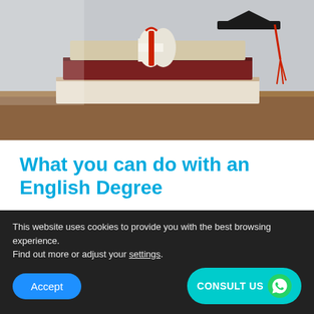[Figure (photo): Stack of books with a graduation diploma tied with red ribbon and a graduation cap with red tassel on a wooden surface]
What you can do with an English Degree
Unlike vocational courses, where there is a clear career path into a specific industry, an English degree keeps the door wide open for lots of
This website uses cookies to provide you with the best browsing experience.
Find out more or adjust your settings.